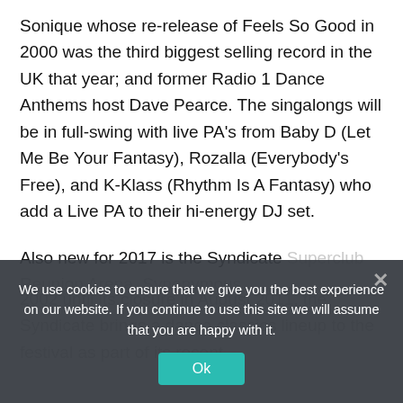Sonique whose re-release of Feels So Good in 2000 was the third biggest selling record in the UK that year; and former Radio 1 Dance Anthems host Dave Pearce. The singalongs will be in full-swing with live PA's from Baby D (Let Me Be Your Fantasy), Rozalla (Everybody's Free), and K-Klass (Rhythm Is A Fantasy) who add a Live PA to their hi-energy DJ set.
Also new for 2017 is the Syndicate Superclub Reunion Arena. Synonymous 2002 until its closure in August 2011, the Syndicate brings a dance classics lineup to the festival as part of its recent
We use cookies to ensure that we give you the best experience on our website. If you continue to use this site we will assume that you are happy with it.